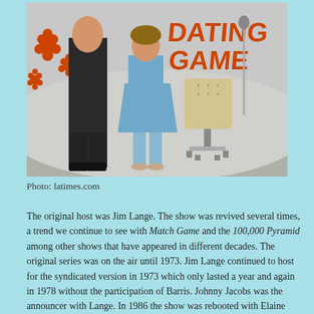[Figure (photo): A vintage game show set. A man in a dark suit stands to the left, a woman in a blue outfit stands center, there is a beige padded chair, and in the background is a colorful logo reading 'Dating Game' with orange flowers on the wall.]
Photo: latimes.com
The original host was Jim Lange. The show was revived several times, a trend we continue to see with Match Game and the 100,000 Pyramid among other shows that have appeared in different decades. The original series was on the air until 1973. Jim Lange continued to host for the syndicated version in 1973 which only lasted a year and again in 1978 without the participation of Barris. Johnny Jacobs was the announcer with Lange. In 1986 the show was rebooted with Elaine Joyce as host